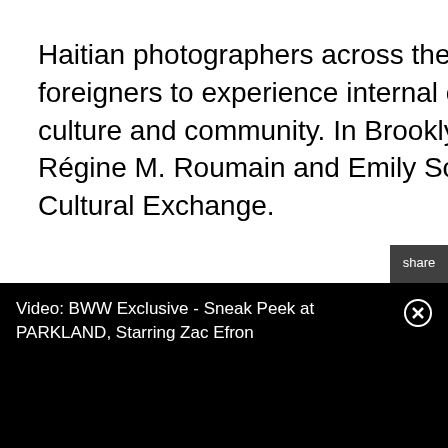Haitian photographers across the island, this exhibition invites foreigners to experience internal conversations about Haitian culture and community. In Brooklyn Bridge Park. Curated by Régine M. Roumain and Emily Schiffer. Presented by Haiti Cultural Exchange.
[Figure (other): Social share sidebar with Twitter and Facebook icons on dark grey background, labeled 'share']
Video: BWW Exclusive - Sneak Peek at PARKLAND, Starring Zac Efron